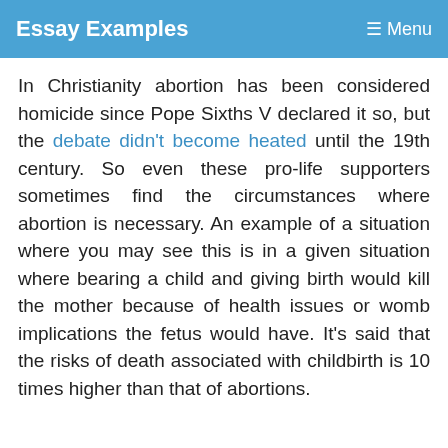Essay Examples   Menu
In Christianity abortion has been considered homicide since Pope Sixths V declared it so, but the debate didn't become heated until the 19th century. So even these pro-life supporters sometimes find the circumstances where abortion is necessary. An example of a situation where you may see this is in a given situation where bearing a child and giving birth would kill the mother because of health issues or womb implications the fetus would have. It's said that the risks of death associated with childbirth is 10 times higher than that of abortions.